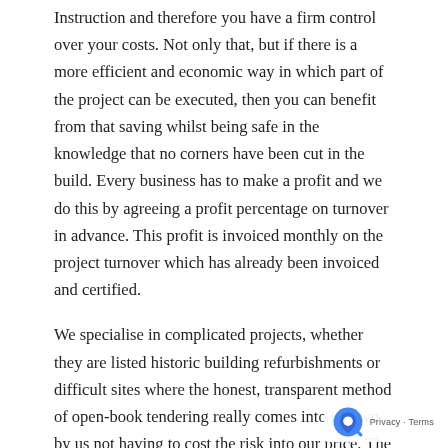Instruction and therefore you have a firm control over your costs. Not only that, but if there is a more efficient and economic way in which part of the project can be executed, then you can benefit from that saving whilst being safe in the knowledge that no corners have been cut in the build. Every business has to make a profit and we do this by agreeing a profit percentage on turnover in advance. This profit is invoiced monthly on the project turnover which has already been invoiced and certified.
We specialise in complicated projects, whether they are listed historic building refurbishments or difficult sites where the honest, transparent method of open-book tendering really comes into its own by us not having to cost the risk into our price. The client pays for only what is needed to complete the project.